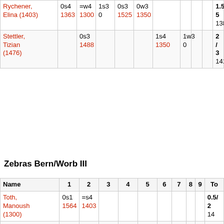| Name | 1 | 2 | 3 | 4 | 5 | 6 | 7 | 8 | 9 | To |
| --- | --- | --- | --- | --- | --- | --- | --- | --- | --- | --- |
| Rychener, Elina (1403) | 0s4
1363 | =w4
1300 | 1s3
0 | 0s3
1525 | 0w3
1350 |  |  |  |  | 1.5/5
1385 |
| Stettler, Tizian (1476) |  | 0s3
1488 |  |  |  | 1s4
1350 | 1w3
0 |  |  | 2/3
1419 |
Zebras Bern/Worb III
| Name | 1 | 2 | 3 | 4 | 5 | 6 | 7 | 8 | 9 | To |
| --- | --- | --- | --- | --- | --- | --- | --- | --- | --- | --- |
| Toth, Manoush (1300) | 0s1
1564 | =s4
1403 |  |  |  |  |  |  |  | 0.5/2
14 |
| De Meuron, Basile (1375) | 1w2
0 |  |  |  |  |  |  |  |  | 1/ |
| Rieder, Timo (1449) | 1s3
0 |  |  | =s1
0 |  |  |  |  |  | 1.5/2 |
| Toth, Ronja (1309) | 0w4
0 |  |  |  |  |  |  |  |  | 0/ |